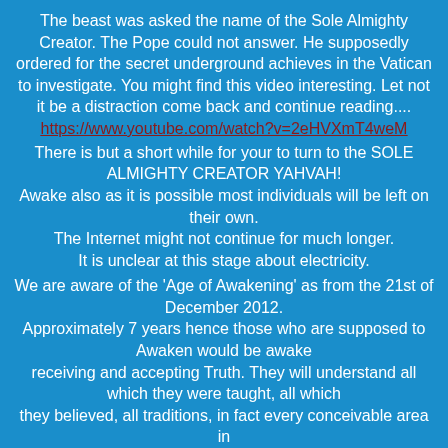The beast was asked the name of the Sole Almighty Creator. The Pope could not answer. He supposedly ordered for the secret underground achieves in the Vatican to investigate. You might find this video interesting. Let not it be a distraction come back and continue reading....
https://www.youtube.com/watch?v=2eHVXmT4weM
There is but a short while for your to turn to the SOLE ALMIGHTY CREATOR YAHVAH! Awake also as it is possible most individuals will be left on their own. The Internet might not continue for much longer. It is unclear at this stage about electricity.
We are aware of the 'Age of Awakening' as from the 21st of December 2012. Approximately 7 years hence those who are supposed to Awaken would be awake receiving and accepting Truth. They will understand all which they were taught, all which they believed, all traditions, in fact every conceivable area in